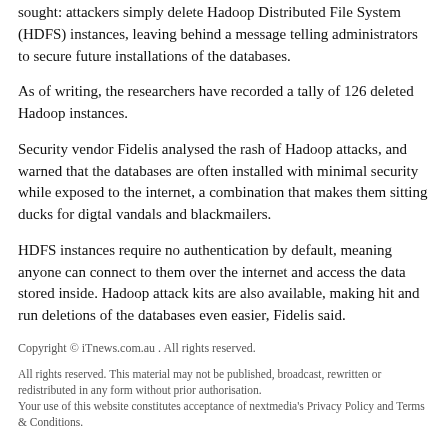sought: attackers simply delete Hadoop Distributed File System (HDFS) instances, leaving behind a message telling administrators to secure future installations of the databases.
As of writing, the researchers have recorded a tally of 126 deleted Hadoop instances.
Security vendor Fidelis analysed the rash of Hadoop attacks, and warned that the databases are often installed with minimal security while exposed to the internet, a combination that makes them sitting ducks for digtal vandals and blackmailers.
HDFS instances require no authentication by default, meaning anyone can connect to them over the internet and access the data stored inside. Hadoop attack kits are also available, making hit and run deletions of the databases even easier, Fidelis said.
Copyright © iTnews.com.au . All rights reserved.
All rights reserved. This material may not be published, broadcast, rewritten or redistributed in any form without prior authorisation.
Your use of this website constitutes acceptance of nextmedia's Privacy Policy and Terms & Conditions.